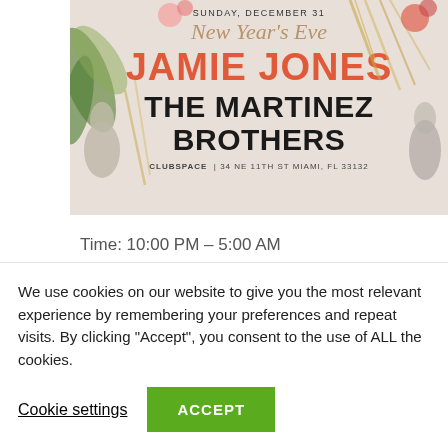[Figure (illustration): Event poster for New Year's Eve at Club Space Miami featuring Jamie Jones and The Martinez Brothers on Sunday, December 31. Floral and artistic decorative background with palm leaves and painted figures.]
Time: 10:00 PM – 5:00 AM
We use cookies on our website to give you the most relevant experience by remembering your preferences and repeat visits. By clicking “Accept”, you consent to the use of ALL the cookies.